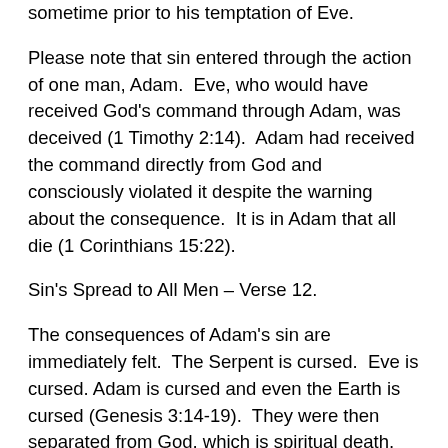sometime prior to his temptation of Eve.
Please note that sin entered through the action of one man, Adam.  Eve, who would have received God's command through Adam, was deceived (1 Timothy 2:14).  Adam had received the command directly from God and consciously violated it despite the warning about the consequence.  It is in Adam that all die (1 Corinthians 15:22).
Sin's Spread to All Men – Verse 12.
The consequences of Adam's sin are immediately felt.  The Serpent is cursed.  Eve is cursed. Adam is cursed and even the Earth is cursed (Genesis 3:14-19).  They were then separated from God, which is spiritual death, and the process of physical death began.  God had warned Adam that the wages of sin would be death, and due to Adam's sin, death now also enters